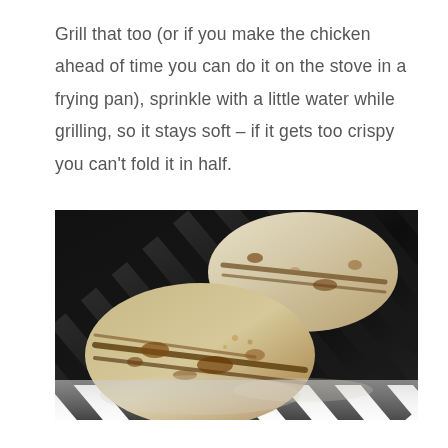Grill that too (or if you make the chicken ahead of time you can do it on the stove in a frying pan), sprinkle with a little water while grilling, so it stays soft – if it gets too crispy you can't fold it in half.
[Figure (photo): Two round flatbreads (pita or tortillas) being grilled on a dark barbecue grill grate, showing grill marks and char spots. A third partially visible flatbread is at the bottom. The grill grates are dark/black and run diagonally.]